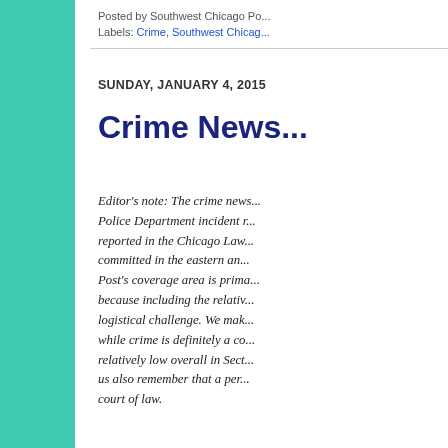Posted by Southwest Chicago Po...
Labels: Crime, Southwest Chicag...
SUNDAY, JANUARY 4, 2015
Crime News...
Editor's note: The crime news... Police Department incident r... reported in the Chicago Law... committed in the eastern an... Post's coverage area is prima... because including the relativ... logistical challenge. We mak... while crime is definitely a co... relatively low overall in Sect... us also remember that a per... court of law.